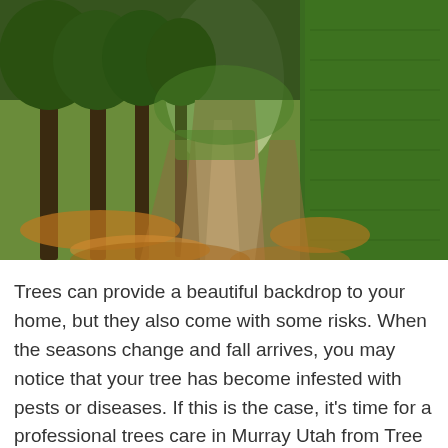[Figure (photo): A garden path lined with tall trees on the left and neatly trimmed hedges on the right, with autumn leaves on the ground and green foliage in the background.]
Trees can provide a beautiful backdrop to your home, but they also come with some risks. When the seasons change and fall arrives, you may notice that your tree has become infested with pests or diseases. If this is the case, it's time for a professional trees care in Murray Utah from Tree Service in West Jordan & South Jordan Utah. We offer expert services such as tree removal